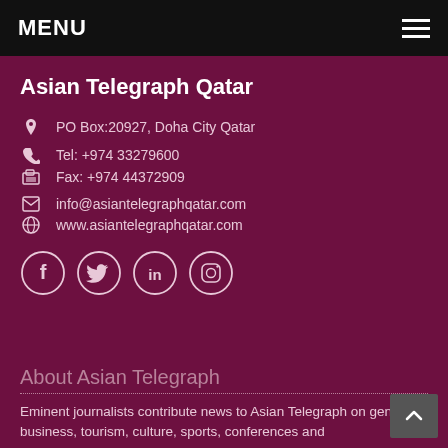MENU
Asian Telegraph Qatar
PO Box:20927, Doha City Qatar
Tel: +974 33279600
Fax: +974 44372909
info@asiantelegraphqatar.com
www.asiantelegraphqatar.com
[Figure (illustration): Social media icons: Facebook, Twitter, LinkedIn, Instagram (circle outlines)]
About Asian Telegraph
Eminent journalists contribute news to Asian Telegraph on general, business, tourism, culture, sports, conferences and